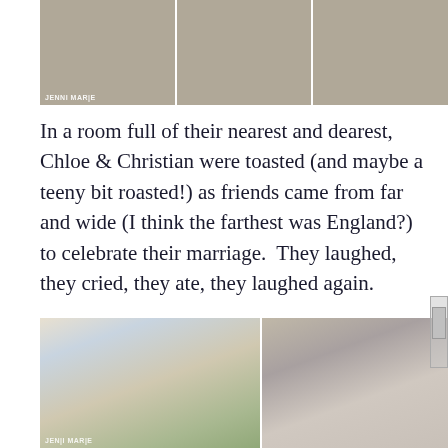[Figure (photo): Three photos showing wedding reception decor: wooden shelving units with decorative figurines, and lush greenery/floral arrangements. Photographer watermark 'JENNI MARIE' visible on first photo.]
In a room full of their nearest and dearest, Chloe & Christian were toasted (and maybe a teeny bit roasted!) as friends came from far and wide (I think the farthest was England?) to celebrate their marriage.  They laughed, they cried, they ate, they laughed again.
[Figure (photo): Two wedding reception photos side by side: left shows bride laughing with guests at table with floral centerpiece; right shows guests applauding during speeches. Photographer watermark visible.]